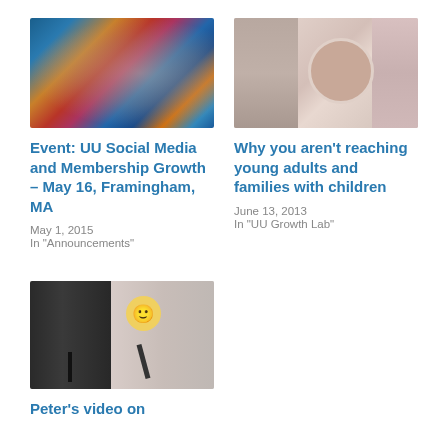[Figure (photo): Social media icons and people shaking hands at an event]
Event: UU Social Media and Membership Growth – May 16, Framingham, MA
May 1, 2015
In "Announcements"
[Figure (photo): Woman smiling collage of photos]
Why you aren't reaching young adults and families with children
June 13, 2013
In "UU Growth Lab"
[Figure (photo): Two speakers at a podium, one holding a smiley face sign]
Peter's video on